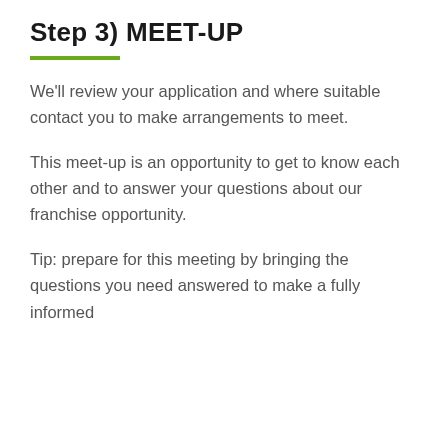Step 3) MEET-UP
We'll review your application and where suitable contact you to make arrangements to meet.
This meet-up is an opportunity to get to know each other and to answer your questions about our franchise opportunity.
Tip: prepare for this meeting by bringing the questions you need answered to make a fully informed...